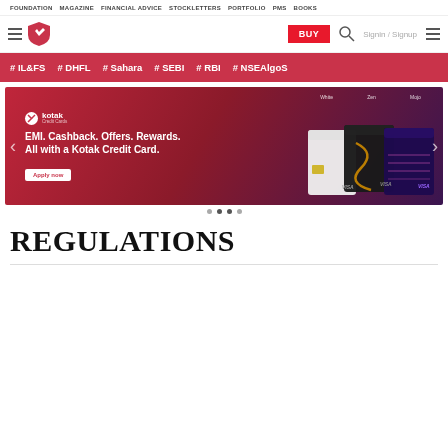FOUNDATION  MAGAZINE  FINANCIAL ADVICE  STOCKLETTERS  PORTFOLIO  PMS  BOOKS
[Figure (logo): Moneylife shield logo with hamburger menu, BUY button, search icon, Signin / Signup]
# IL&FS   # DHFL   # Sahara   # SEBI   # RBI   # NSEAlgoS
[Figure (photo): Kotak Credit Card advertisement banner: EMI. Cashback. Offers. Rewards. All with a Kotak Credit Card. Apply now. Shows White, Zen, Mojo credit cards.]
REGULATIONS